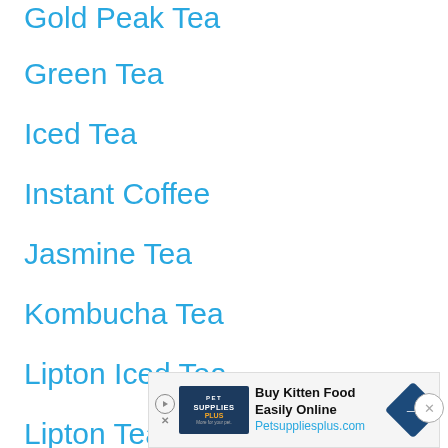Gold Peak Tea
Green Tea
Iced Tea
Instant Coffee
Jasmine Tea
Kombucha Tea
Lipton Iced Tea
Lipton Tea
Matcha Tea
McDo...
[Figure (infographic): Advertisement banner: Buy Kitten Food Easily Online at Petsuppliesplus.com with Pet Supplies Plus logo and navigation arrow icon]